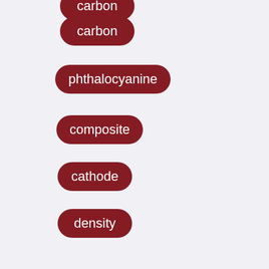carbon
phthalocyanine
composite
cathode
density
R&D
takeover risk
risk premium
lithium treatment
response